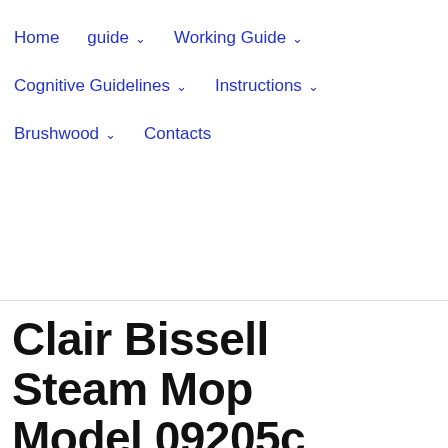Home   guide ∨   Working Guide ∨   Cognitive Guidelines ∨   Instructions ∨   Brushwood ∨   Contacts
Clair Bissell Steam Mop Model 09205c